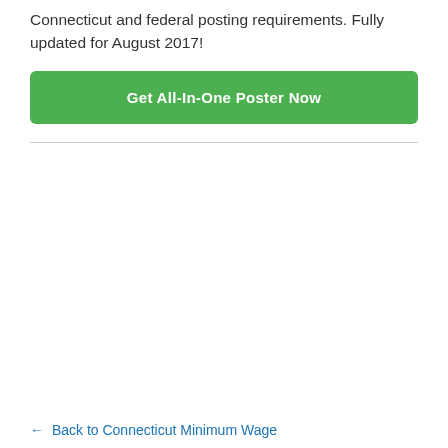Connecticut and federal posting requirements. Fully updated for August 2017!
Get All-In-One Poster Now
← Back to Connecticut Minimum Wage